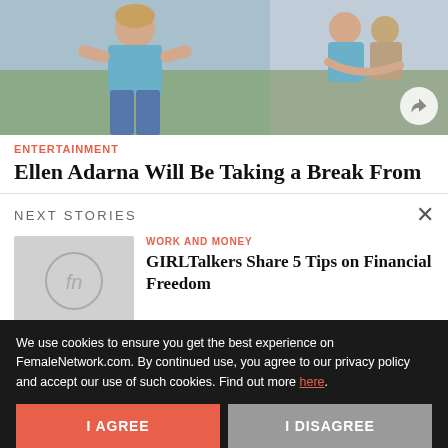[Figure (photo): Two photos: left shows a woman in a blue crop top and jeans; right shows two people embracing outdoors with a share button overlay]
ENTERTAINMENT
Ellen Adarna Will Be Taking a Break From
NEXT STORIES
[Figure (logo): FemaleNetwork logo placeholder thumbnail (grey background with stylized 'fn' icon)]
WORK AND MONEY
GIRLTalkers Share 5 Tips on Financial Freedom
We use cookies to ensure you get the best experience on FemaleNetwork.com. By continued use, you agree to our privacy policy and accept our use of such cookies. Find out more here.
I AGREE
I DISAGREE